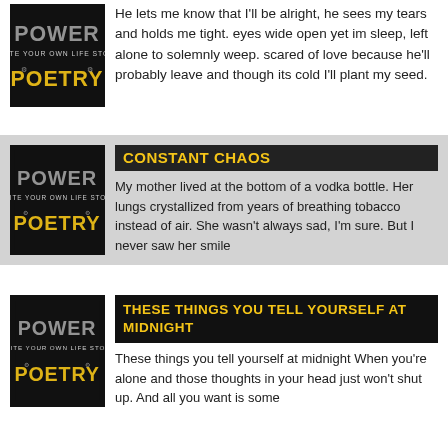[Figure (logo): Power Poetry logo — black background with POWER and POETRY text in stylized letters, yellow and grey tones]
He lets me know that I'll be alright, he sees my tears and holds me tight. eyes wide open yet im sleep, left alone to solemnly weep. scared of love because he'll probably leave and though its cold I'll plant my seed.
[Figure (logo): Power Poetry logo — black background with POWER and POETRY text in stylized letters, yellow and grey tones]
CONSTANT CHAOS
My mother lived at the bottom of a vodka bottle. Her lungs crystallized from years of breathing tobacco instead of air. She wasn't always sad, I'm sure. But I never saw her smile
[Figure (logo): Power Poetry logo — black background with POWER and POETRY text in stylized letters, yellow and grey tones]
THESE THINGS YOU TELL YOURSELF AT MIDNIGHT
These things you tell yourself at midnight When you're alone and those thoughts in your head just won't shut up. And all you want is some